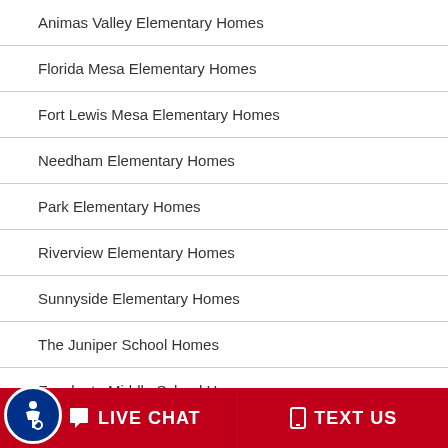Animas Valley Elementary Homes
Florida Mesa Elementary Homes
Fort Lewis Mesa Elementary Homes
Needham Elementary Homes
Park Elementary Homes
Riverview Elementary Homes
Sunnyside Elementary Homes
The Juniper School Homes
Escalante Middle School Homes
LIVE CHAT   TEXT US